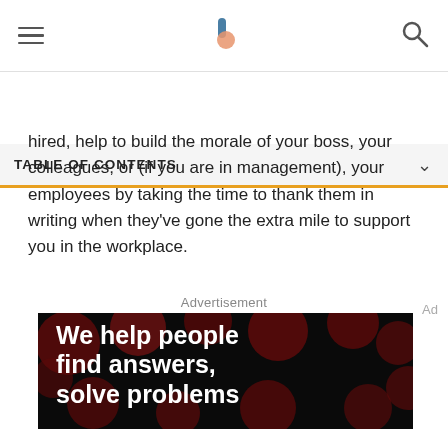TABLE OF CONTENTS
hired, help to build the morale of your boss, your colleagues, or (if you are in management), your employees by taking the time to thank them in writing when they’ve gone the extra mile to support you in the workplace.
Advertisement
[Figure (screenshot): Advertisement banner showing 'We help people find answers, solve problems' in bold white text on dark background with dark red circles pattern, with Dotdash Meredith branding at bottom.]